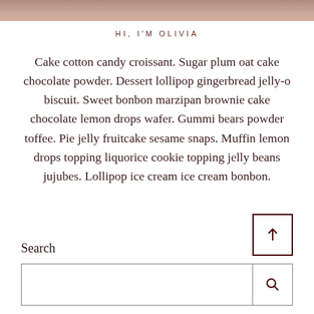[Figure (photo): Partial photo visible at top of page, appears to be food or baked goods]
HI, I'M OLIVIA
Cake cotton candy croissant. Sugar plum oat cake chocolate powder. Dessert lollipop gingerbread jelly-o biscuit. Sweet bonbon marzipan brownie cake chocolate lemon drops wafer. Gummi bears powder toffee. Pie jelly fruitcake sesame snaps. Muffin lemon drops topping liquorice cookie topping jelly beans jujubes. Lollipop ice cream ice cream bonbon.
Search